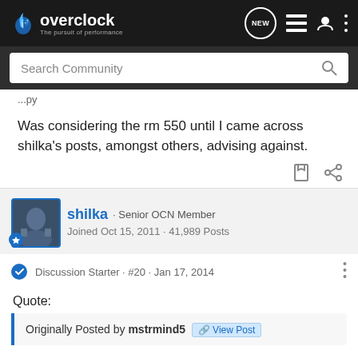overclock · The pursuit of performance
Search Community
...py
Was considering the rm 550 until I came across shilka's posts, amongst others, advising against.
shilka · Senior OCN Member
Joined Oct 15, 2011 · 41,989 Posts
Discussion Starter · #20 · Jan 17, 2014
Quote:
Originally Posted by mstrmind5  View Post